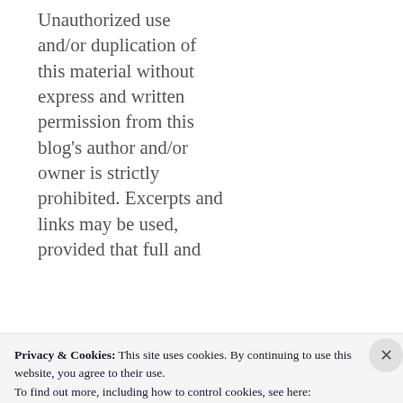Unauthorized use and/or duplication of this material without express and written permission from this blog's author and/or owner is strictly prohibited. Excerpts and links may be used, provided that full and
Privacy & Cookies: This site uses cookies. By continuing to use this website, you agree to their use.
To find out more, including how to control cookies, see here:
Cookie Policy
Close and accept